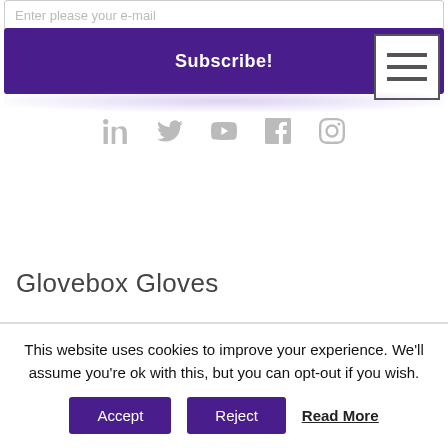Enter please your e-mail
Subscribe!
[Figure (infographic): Social media icons row: LinkedIn, Twitter, YouTube, Facebook, Instagram]
Glovebox Gloves
This website uses cookies to improve your experience. We'll assume you're ok with this, but you can opt-out if you wish.
Accept  Reject  Read More